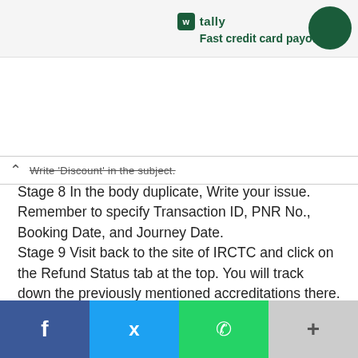[Figure (screenshot): Tally app advertisement banner with logo and 'Fast credit card payoff' tagline, green circle icon on right]
Write 'Discount' in the subject.
Stage 8 In the body duplicate, Write your issue. Remember to specify Transaction ID, PNR No., Booking Date, and Journey Date.
Stage 9 Visit back to the site of IRCTC and click on the Refund Status tab at the top. You will track down the previously mentioned accreditations there. Duplicate them and glue them into your body duplicate.
Stage 10 Mail it
[Figure (screenshot): Social sharing bar with Facebook (blue), Twitter (light blue), WhatsApp (green), and More (+) buttons]